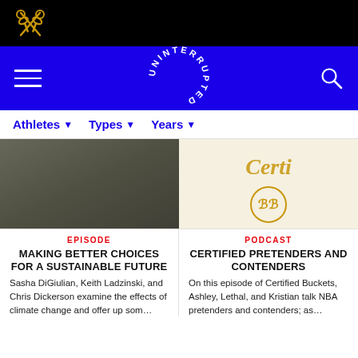Uninterrupted — Top navigation bar with scissors logo
[Figure (logo): Scissors logo in gold on black background]
[Figure (logo): UNINTERRUPTED circular text logo in white on blue background]
[Figure (other): Search icon (magnifying glass) on blue background]
Athletes ▾
Types ▾
Years ▾
[Figure (photo): Dark blurred outdoor photo for episode card]
[Figure (photo): Cream/beige background with gold cursive and circular monogram logo for Certified Buckets podcast]
EPISODE
MAKING BETTER CHOICES FOR A SUSTAINABLE FUTURE
Sasha DiGiulian, Keith Ladzinski, and Chris Dickerson examine the effects of climate change and offer up som…
PODCAST
CERTIFIED PRETENDERS AND CONTENDERS
On this episode of Certified Buckets, Ashley, Lethal, and Kristian talk NBA pretenders and contenders; as…